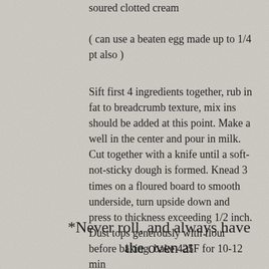soured clotted cream
( can use a beaten egg made up to 1/4 pt also )
Sift first 4 ingredients together, rub in fat to breadcrumb texture, mix ins should be added at this point. Make a well in the center and pour in milk. Cut together with a knife until a soft-not-sticky dough is formed. Knead 3 times on a floured board to smooth underside, turn upside down and press to thickness exceeding 1/2 inch. Dust tops generously with flour before baking. bake 425F for 10-12 min
*Never roll, and always have the oven at